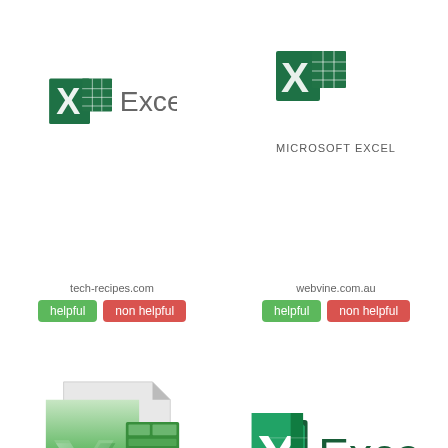[Figure (logo): Microsoft Excel 2013/2016 style logo (green X with spreadsheet grid icon) and text 'Excel' top-left]
[Figure (logo): Microsoft Excel logo (green X with spreadsheet grid icon) with text 'MICROSOFT EXCEL' below, top-right]
tech-recipes.com
helpful
non helpful
webvine.com.au
helpful
non helpful
[Figure (logo): Classic Microsoft Excel 2010 style 3D icon with stylized X and spreadsheet grid on page background, bottom-left]
[Figure (logo): Modern Microsoft Excel flat logo (green X icon) with text 'Excel' in green, bottom-right]